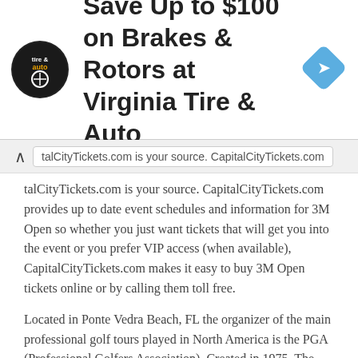[Figure (logo): Virginia Tire & Auto circular logo with blue navigation arrow icon on right side, advertisement banner]
Save Up to $100 on Brakes & Rotors at Virginia Tire & Auto
talCityTickets.com is your source. CapitalCityTickets.com provides up to date event schedules and information for 3M Open so whether you just want tickets that will get you into the event or you prefer VIP access (when available), CapitalCityTickets.com makes it easy to buy 3M Open tickets online or by calling them toll free.
Located in Ponte Vedra Beach, FL the organizer of the main professional golf tours played in North America is the PGA (Professional Golfers Association). Created in 1975, The PGA organizes most of the events on the annual series of most of the golf tournaments for the tournament series: PGA Tour, PGA Champions Tour (golfers age 50 and older), Web.com Tour,